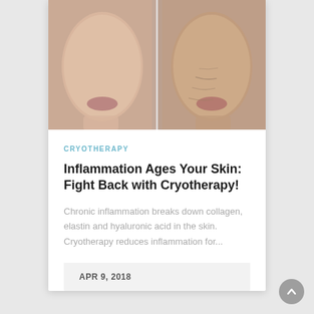[Figure (photo): Split before/after comparison photo of a woman's face — left half showing younger, smoother skin; right half showing older, wrinkled skin against a light grey background]
CRYOTHERAPY
Inflammation Ages Your Skin: Fight Back with Cryotherapy!
Chronic inflammation breaks down collagen, elastin and hyaluronic acid in the skin. Cryotherapy reduces inflammation for...
APR 9, 2018